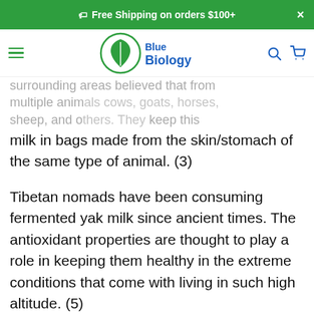Free Shipping on orders $100+
[Figure (logo): Blue Biology logo with green leaf icon and blue text]
surrounding areas believed that from multiple animals cows, goats, horses, sheep, and others. They keep this milk in bags made from the skin/stomach of the same type of animal. (3)
Tibetan nomads have been consuming fermented yak milk since ancient times. The antioxidant properties are thought to play a role in keeping them healthy in the extreme conditions that come with living in such high altitude. (5)
There’s a Turkish legend that has been